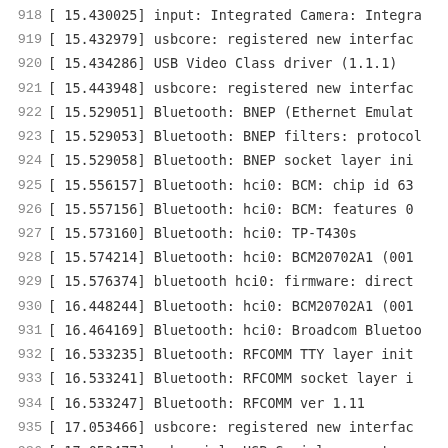918 [ 15.430025] input: Integrated Camera: Integra
919 [ 15.432979] usbcore: registered new interface
920 [ 15.434286] USB Video Class driver (1.1.1)
921 [ 15.443948] usbcore: registered new interface
922 [ 15.529051] Bluetooth: BNEP (Ethernet Emulat
923 [ 15.529053] Bluetooth: BNEP filters: protocol
924 [ 15.529058] Bluetooth: BNEP socket layer ini
925 [ 15.556157] Bluetooth: hci0: BCM: chip id 63
926 [ 15.557156] Bluetooth: hci0: BCM: features 0
927 [ 15.573160] Bluetooth: hci0: TP-T430s
928 [ 15.574214] Bluetooth: hci0: BCM20702A1 (001
929 [ 15.576374] bluetooth hci0: firmware: direct
930 [ 16.448244] Bluetooth: hci0: BCM20702A1 (001
931 [ 16.464169] Bluetooth: hci0: Broadcom Bluetoo
932 [ 16.533235] Bluetooth: RFCOMM TTY layer init
933 [ 16.533241] Bluetooth: RFCOMM socket layer i
934 [ 16.533247] Bluetooth: RFCOMM ver 1.11
935 [ 17.053466] usbcore: registered new interface
936 [ 17.053477] usbserial: USB Serial support re
937 [ 17.057017] usbcore: registered new interface
938 [ 17.057026] usbserial: USB Serial support re